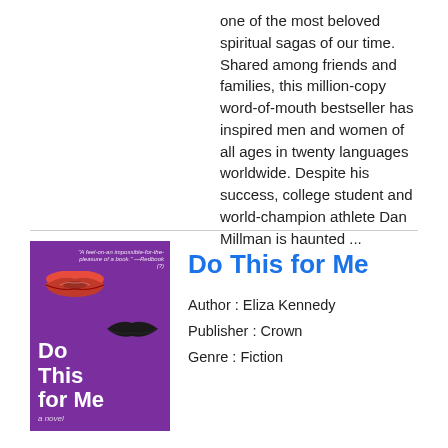one of the most beloved spiritual sagas of our time. Shared among friends and families, this million-copy word-of-mouth bestseller has inspired men and women of all ages in twenty languages worldwide. Despite his success, college student and world-champion athlete Dan Millman is haunted ...
[Figure (illustration): Book cover of 'Do This for Me' — purple background with red lips/kiss marks, bold white title text]
Do This for Me
Author : Eliza Kennedy
Publisher : Crown
Genre : Fiction